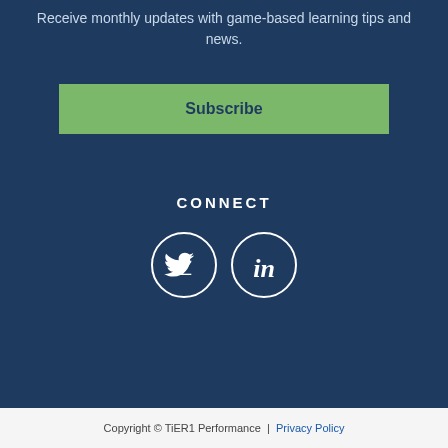Receive monthly updates with game-based learning tips and news.
Subscribe
CONNECT
[Figure (illustration): Twitter bird icon in a circle outline and LinkedIn 'in' icon in a circle outline, side by side, white icons on dark blue background]
Copyright © TiER1 Performance | Privacy Policy